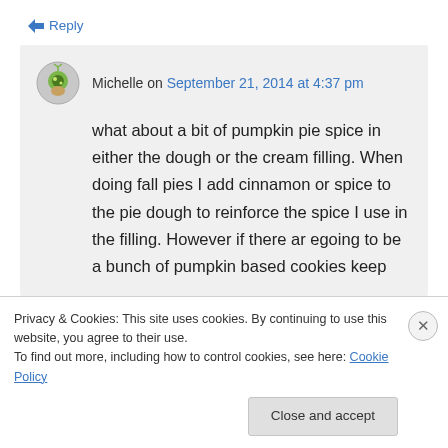↳ Reply
Michelle on September 21, 2014 at 4:37 pm
what about a bit of pumpkin pie spice in either the dough or the cream filling. When doing fall pies I add cinnamon or spice to the pie dough to reinforce the spice I use in the filling. However if there ar egoing to be a bunch of pumpkin based cookies keep
Privacy & Cookies: This site uses cookies. By continuing to use this website, you agree to their use.
To find out more, including how to control cookies, see here: Cookie Policy
Close and accept